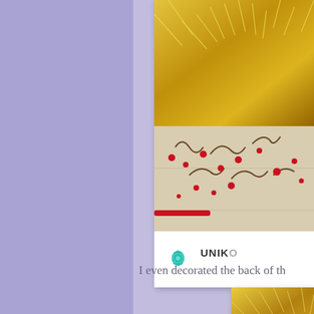[Figure (photo): A cropped photo card showing Christmas/holiday decorations — gold tinsel, red jewels/berries scattered on a white wooden surface, with what appears to be a gold glittery tree base. The card has a white border and a logo bar at the bottom showing a teal lotus/flower icon and text 'UNIKO' partially visible.]
I even decorated the back of th
[Figure (photo): Partial view of a second photo card cropped at the bottom-right, showing gold tinsel/Christmas tree decoration similar to the first image.]